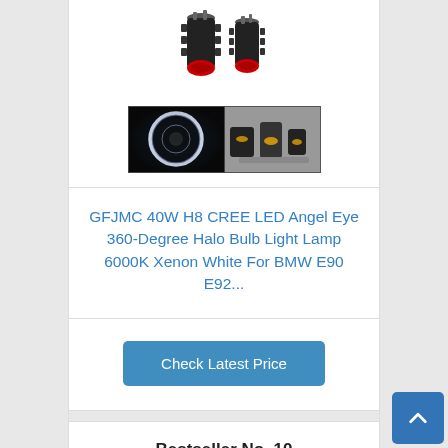[Figure (photo): Two black LED angel eye bulbs with red rings, and two thumbnail photos: left showing BMW with glowing white halo rings, right showing the bulbs/hardware]
GFJMC 40W H8 CREE LED Angel Eye 360-Degree Halo Bulb Light Lamp 6000K Xenon White For BMW E90 E92...
Check Latest Price
Bestseller No. 10